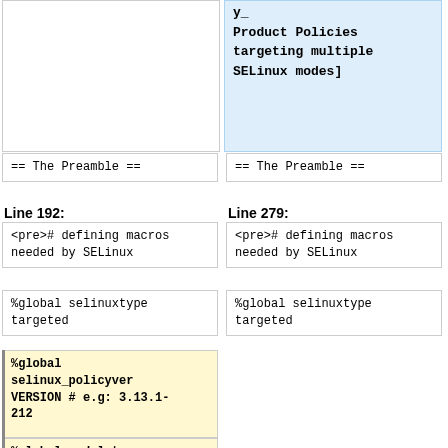y_
Product Policies
targeting multiple
SELinux modes]
| == The Preamble == | == The Preamble == |
Line 192:
Line 279:
| <pre># defining macros needed by SELinux | <pre># defining macros needed by SELinux |
| %global selinuxtype targeted | %global selinuxtype targeted |
| %global selinux_policyver VERSION # e.g: 3.13.1-212 |  |
| %global moduletype contrib |  |
| %global modulename myapp</pre> | %global modulename myapp</pre> |